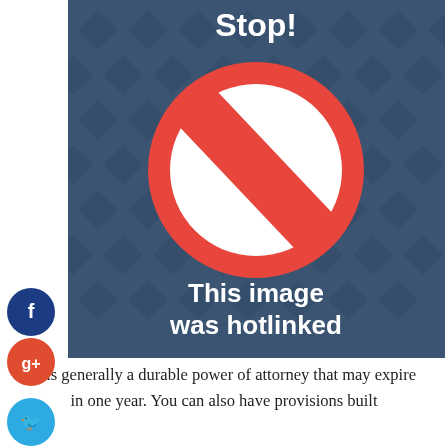[Figure (infographic): A hotlinked image placeholder graphic with dark blue background and chevron pattern, showing a red prohibition/no symbol (circle with diagonal slash), text 'Stop!' at top, and text 'This image was hotlinked' below the symbol. Social share buttons (Facebook, Google+, Twitter, Plus) appear on the left side.]
It is generally a durable power of attorney that may expire in one year. You can also have provisions built